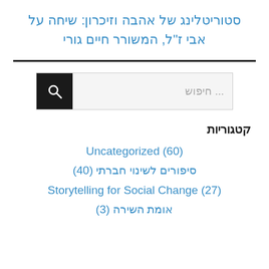סטוריטלינג של אהבה וזיכרון: שיחה על אבי ז"ל, המשורר חיים גורי
חיפוש ...
קטגוריות
Uncategorized (60)
סיפורים לשינוי חברתי (40)
Storytelling for Social Change (27)
אומת השירה (3)